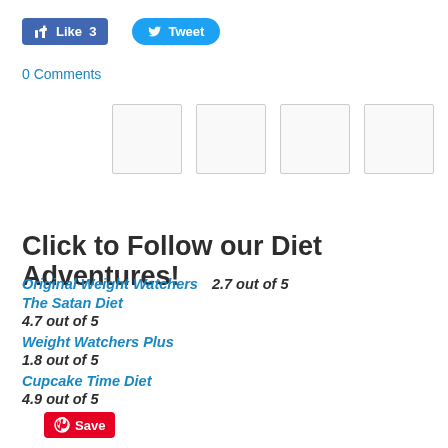[Figure (screenshot): Facebook Like button showing 'Like 3' and Twitter Tweet button]
0 Comments
[Figure (other): Four empty image placeholder boxes in a row]
[Figure (other): Pinterest Save button (red)]
Click to Follow our Diet Adventures!
Original Weight Watchers    2.7 out of 5
The Satan Diet
4.7 out of 5
Weight Watchers Plus
1.8 out of 5
Cupcake Time Diet
4.9 out of 5